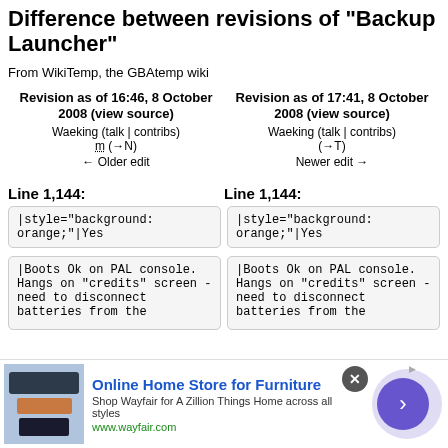Difference between revisions of "Backup Launcher"
From WikiTemp, the GBAtemp wiki
| Left Revision | Right Revision |
| --- | --- |
| Revision as of 16:46, 8 October 2008 (view source) | Revision as of 17:41, 8 October 2008 (view source) |
| Waeking (talk | contribs) | Waeking (talk | contribs) |
| m (→N) | (→T) |
| ← Older edit | Newer edit → |
Line 1,144:
Line 1,144:
|style="background: orange;"|Yes
|style="background: orange;"|Yes
|Boots Ok on PAL console. Hangs on "credits" screen - need to disconnect batteries from the
|Boots Ok on PAL console. Hangs on "credits" screen - need to disconnect batteries from the
[Figure (infographic): Advertisement banner for Wayfair Online Home Store for Furniture with product image, close button, and arrow button]